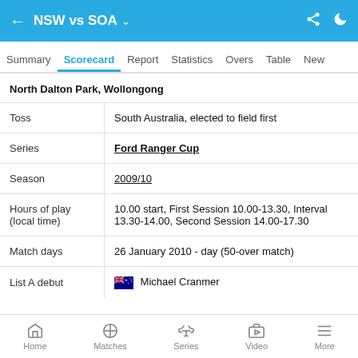NSW vs SOA
Summary | Scorecard | Report | Statistics | Overs | Table | New
North Dalton Park, Wollongong
| Field | Value |
| --- | --- |
| Toss | South Australia, elected to field first |
| Series | Ford Ranger Cup |
| Season | 2009/10 |
| Hours of play (local time) | 10.00 start, First Session 10.00-13.30, Interval 13.30-14.00, Second Session 14.00-17.30 |
| Match days | 26 January 2010 - day (50-over match) |
| List A debut | Michael Cranmer |
Home | Matches | Series | Video | More